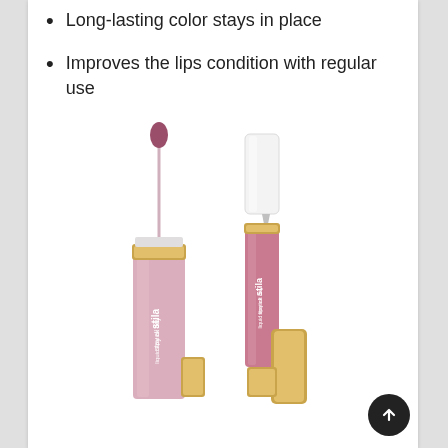Long-lasting color stays in place
Improves the lips condition with regular use
[Figure (photo): Two Stila lip product tubes — a pink lip gloss with applicator wand extended, and a dual-ended lip color pen with clear top cap — surrounded by gold cap components, displayed on a white background.]